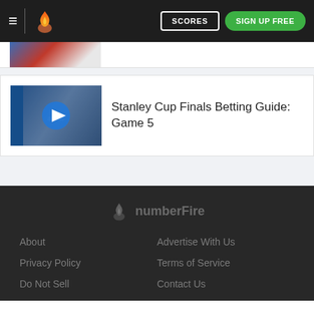numberFire — SCORES | SIGN UP FREE
[Figure (screenshot): Partial thumbnail image of a hockey article at top of page]
[Figure (photo): Video thumbnail of hockey players with blue play button overlay for Stanley Cup Finals Betting Guide: Game 5]
Stanley Cup Finals Betting Guide: Game 5
[Figure (logo): numberFire logo in footer — flame icon and 'numberFire' text in gray]
About
Advertise With Us
Privacy Policy
Terms of Service
Do Not Sell
Contact Us